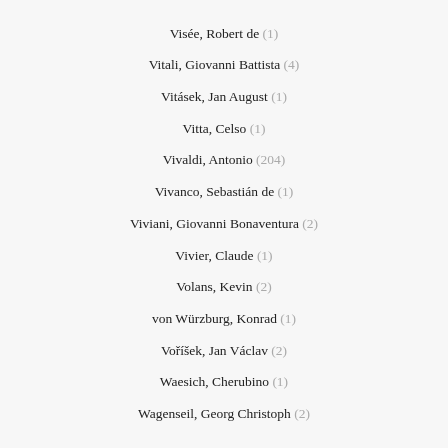Visée, Robert de (1)
Vitali, Giovanni Battista (4)
Vitásek, Jan August (1)
Vitta, Celso (1)
Vivaldi, Antonio (204)
Vivanco, Sebastián de (1)
Viviani, Giovanni Bonaventura (2)
Vivier, Claude (1)
Volans, Kevin (2)
von Würzburg, Konrad (1)
Voříšek, Jan Václav (2)
Waesich, Cherubino (1)
Wagenseil, Georg Christoph (2)